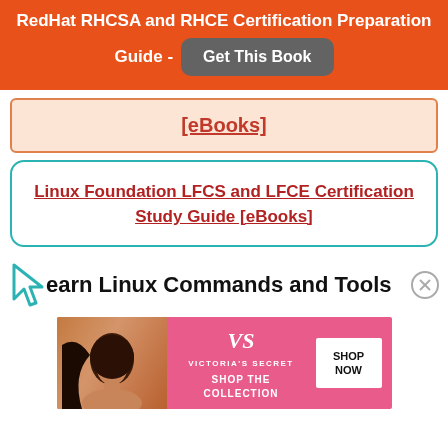RedHat RHCSA and RHCE Certification Preparation Guide - Get This Book
[eBooks]
Linux Foundation LFCS and LFCE Certification Study Guide [eBooks]
Learn Linux Commands and Tools
[Figure (photo): Victoria's Secret advertisement banner with a model, VS logo, 'Shop The Collection' text, and 'Shop Now' button]